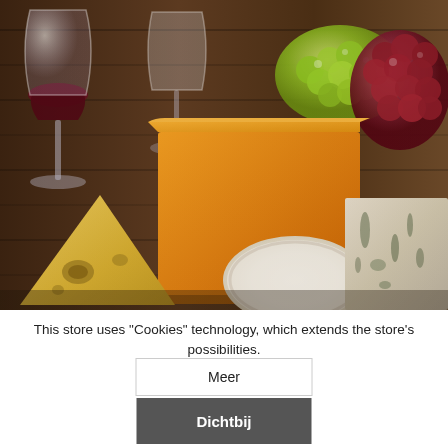[Figure (photo): Photo of a cheese board with various cheeses (large orange cheddar block, Swiss cheese wedge with holes, brie round, blue cheese), wine glasses, green grapes, and red grapes on a dark wooden surface.]
This store uses "Cookies" technology, which extends the store's possibilities.
Meer
Dichtbij